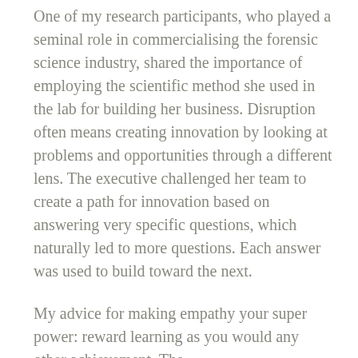One of my research participants, who played a seminal role in commercialising the forensic science industry, shared the importance of employing the scientific method she used in the lab for building her business. Disruption often means creating innovation by looking at problems and opportunities through a different lens. The executive challenged her team to create a path for innovation based on answering very specific questions, which naturally led to more questions. Each answer was used to build toward the next.
My advice for making empathy your super power: reward learning as you would any other achievement. The